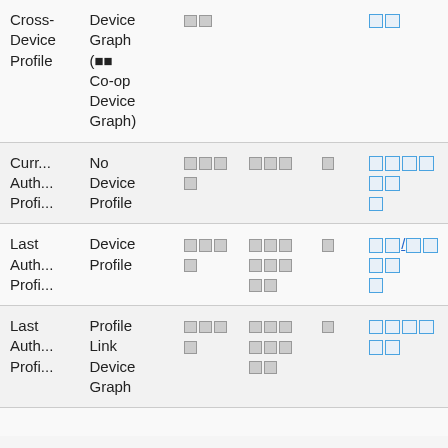| Cross-Device Profile | Device Graph (▪▪ Co-op Device Graph) | ▪▪ |  | ▪▪ |
| Curr... Auth... Profi... | No Device Profile | ▪▪▪▪ | ▪▪▪ | ▪ | ▪▪▪▪▪▪ ▪ |
| Last Auth... Profi... | Device Profile | ▪▪▪▪ | ▪▪▪▪▪▪ ▪▪ | ▪ | ▪▪/▪▪▪▪ ▪ |
| Last Auth... Profi... | Profile Link Device Graph | ▪▪▪▪ | ▪▪▪▪▪▪ ▪▪ | ▪ | ▪▪▪▪▪▪ |